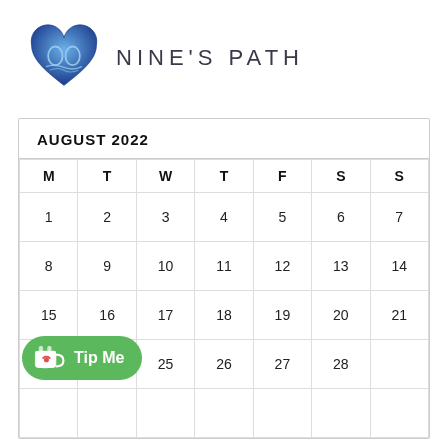[Figure (logo): Nine's Path logo: blue heart with two interlocking crescents inside]
NINE'S PATH
| M | T | W | T | F | S | S |
| --- | --- | --- | --- | --- | --- | --- |
| 1 | 2 | 3 | 4 | 5 | 6 | 7 |
| 8 | 9 | 10 | 11 | 12 | 13 | 14 |
| 15 | 16 | 17 | 18 | 19 | 20 | 21 |
| 22/29 | 24 | 25 | 26 | 27 | 28 |  |
|  |  |  |  |  |  |  |